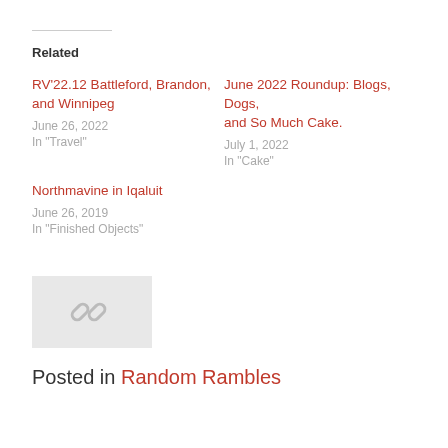Related
RV'22.12 Battleford, Brandon, and Winnipeg
June 26, 2022
In "Travel"
June 2022 Roundup: Blogs, Dogs, and So Much Cake.
July 1, 2022
In "Cake"
Northmavine in Iqaluit
June 26, 2019
In "Finished Objects"
[Figure (other): Placeholder image with chain link icon]
Posted in Random Rambles